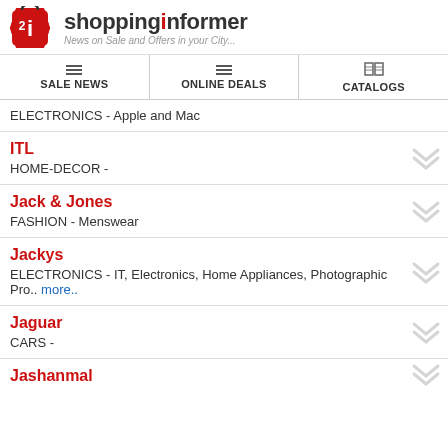shoppinginformer - News on Sale and Offers in your City...
SALE NEWS
ONLINE DEALS
CATALOGS
ELECTRONICS - Apple and Mac
ITL
HOME-DECOR -
Jack & Jones
FASHION - Menswear
Jackys
ELECTRONICS - IT, Electronics, Home Appliances, Photographic Pro.. more..
Jaguar
CARS -
Jashanmal